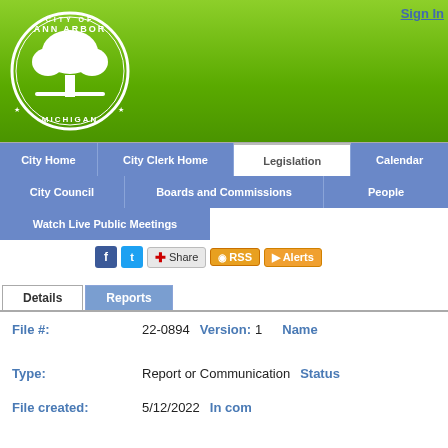[Figure (logo): City of Ann Arbor Michigan seal - circular white logo with tree]
Sign In
City Home | City Clerk Home | Legislation | Calendar
City Council | Boards and Commissions | People
Watch Live Public Meetings
Share RSS Alerts
Details | Reports
File #: 22-0894  Version: 1  Name
Type: Report or Communication  Status
File created: 5/12/2022  In com